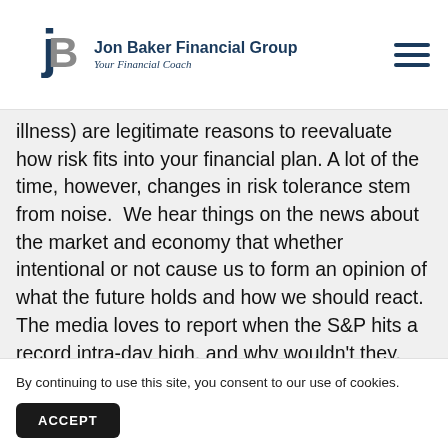Jon Baker Financial Group — Your Financial Coach
illness) are legitimate reasons to reevaluate how risk fits into your financial plan. A lot of the time, however, changes in risk tolerance stem from noise. We hear things on the news about the market and economy that whether intentional or not cause us to form an opinion of what the future holds and how we should react. The media loves to report when the S&P hits a record intra-day high, and why wouldn't they, that's good noise. The truth is, it has hit a record intra-day h... th... in...
By continuing to use this site, you consent to our use of cookies.